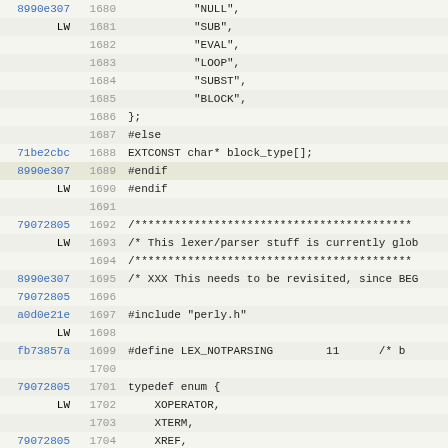[Figure (screenshot): Source code diff/blame view showing lines 1680-1711 of a C/Perl source file with commit hashes, line numbers, and code content including block_type array, preprocessor directives, and typedef enum definition]